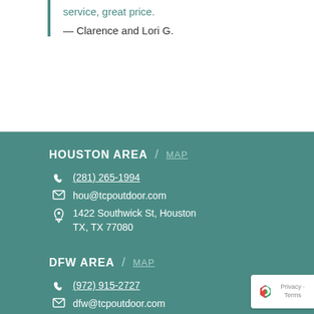service, great price.
— Clarence and Lori G.
HOUSTON AREA / MAP
(281) 265-1994
hou@tcpoutdoor.com
1422 Southwick St, Houston TX, TX 77080
DFW AREA / MAP
(972) 915-2727
dfw@tcpoutdoor.com